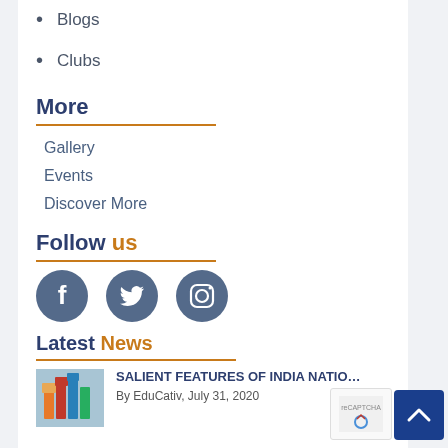Blogs
Clubs
More
Gallery
Events
Discover More
Follow us
[Figure (illustration): Social media icons: Facebook, Twitter, Instagram]
Latest News
[Figure (photo): Thumbnail image showing colorful books/charts]
SALIENT FEATURES OF INDIA NATIO…
By EduCativ, July 31, 2020